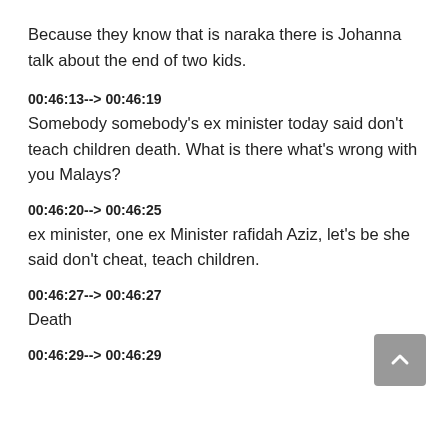Because they know that is naraka there is Johanna talk about the end of two kids.
00:46:13--> 00:46:19
Somebody somebody's ex minister today said don't teach children death. What is there what's wrong with you Malays?
00:46:20--> 00:46:25
ex minister, one ex Minister rafidah Aziz, let's be she said don't cheat, teach children.
00:46:27--> 00:46:27
Death
00:46:29--> 00:46:29